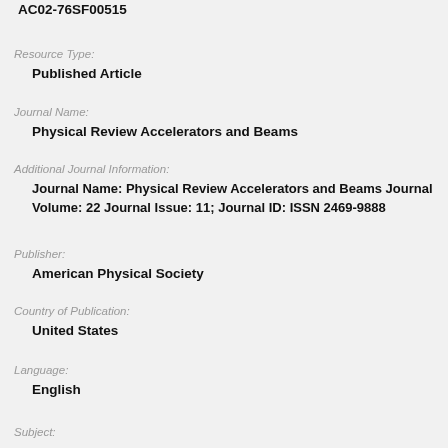AC02-76SF00515
Resource Type:
Published Article
Journal Name:
Physical Review Accelerators and Beams
Additional Journal Information:
Journal Name: Physical Review Accelerators and Beams Journal Volume: 22 Journal Issue: 11; Journal ID: ISSN 2469-9888
Publisher:
American Physical Society
Country of Publication:
United States
Language:
English
Subject: